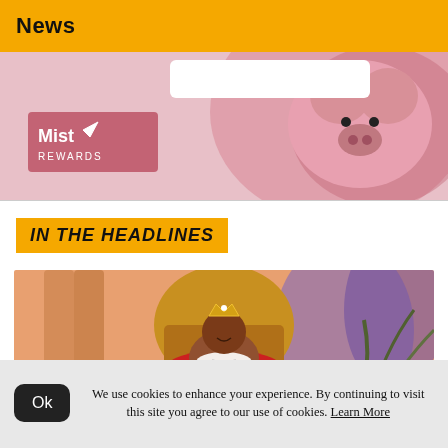News
[Figure (illustration): Pink illustrated advertisement banner with 'Mist Rewards' logo and cartoon pig figure]
[Figure (illustration): Illustrated image of a woman wearing a crown and red robe sitting on a golden throne, with orange background and tropical plant]
IN THE HEADLINES
We use cookies to enhance your experience. By continuing to visit this site you agree to our use of cookies. Learn More